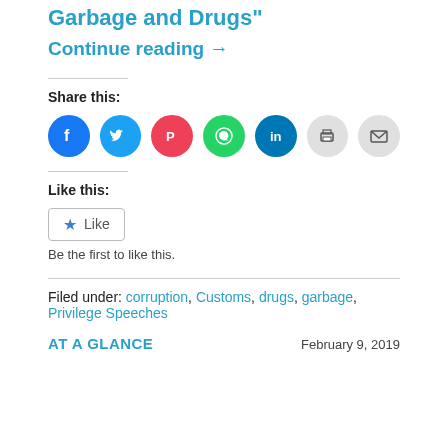Garbage and Drugs”
Continue reading →
Share this:
[Figure (infographic): Social share buttons: Facebook (blue), Twitter (light blue), Pocket (red/pink), WhatsApp (green), LinkedIn (dark blue), Print (gray), Email (gray)]
Like this:
[Figure (infographic): WordPress Like button widget with star icon and 'Like' text, and 'Be the first to like this.' text below]
Be the first to like this.
Filed under: corruption, Customs, drugs, garbage, Privilege Speeches
AT A GLANCE
February 9, 2019